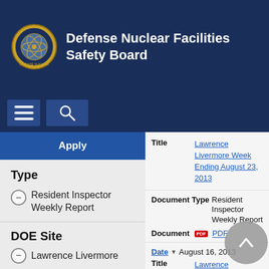Defense Nuclear Facilities Safety Board
Apply
Type
Resident Inspector Weekly Report
DOE Site
Lawrence Livermore
| Field | Value |
| --- | --- |
| Title | Lawrence Livermore Week Ending August 23, 2013 |
| Document Type | Resident Inspector Weekly Report |
| Document | PDF |
| Date | August 16, 2013 |
| Title | Lawrence Livermore Week Ending August 16, 2013 |